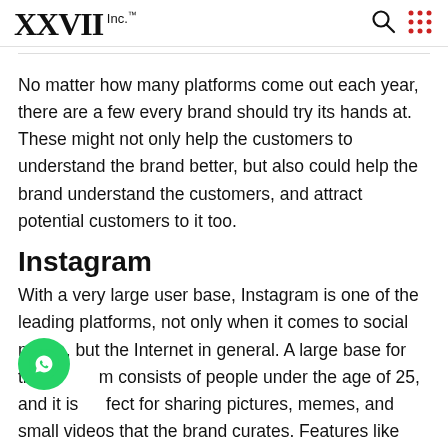XXVII Inc.™
No matter how many platforms come out each year, there are a few every brand should try its hands at. These might not only help the customers to understand the brand better, but also could help the brand understand the customers, and attract potential customers to it too.
Instagram
With a very large user base, Instagram is one of the leading platforms, not only when it comes to social media, but the Internet in general. A large base for this platform consists of people under the age of 25, and it is perfect for sharing pictures, memes, and small videos that the brand curates. Features like Instagram Live can